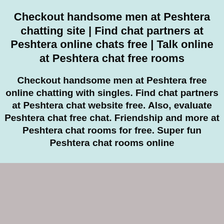Checkout handsome men at Peshtera chatting site | Find chat partners at Peshtera online chats free | Talk online at Peshtera chat free rooms
Checkout handsome men at Peshtera free online chatting with singles. Find chat partners at Peshtera chat website free. Also, evaluate Peshtera chat free chat. Friendship and more at Peshtera chat rooms for free. Super fun Peshtera chat rooms online